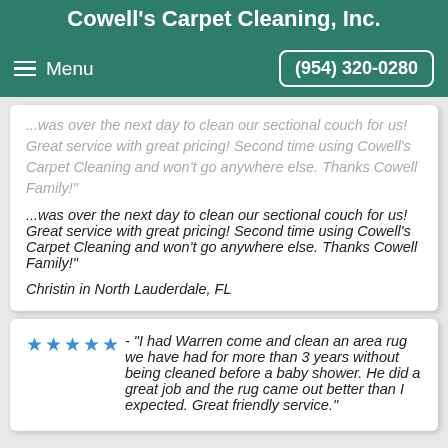Cowell's Carpet Cleaning, Inc.
Menu   (954) 320-0280
...was over the next day to clean our sectional couch for us! Great service with great pricing! Second time using Cowell's Carpet Cleaning and won't go anywhere else. Thanks Cowell Family!" Christin in North Lauderdale, FL
★★★★★ - "I had Warren come and clean an area rug we have had for more than 3 years without being cleaned before a baby shower. He did a great job and the rug came out better than I expected. Great friendly service."